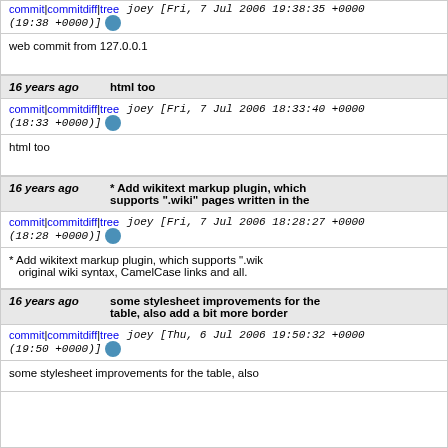commit | commitdiff | tree   joey [Fri, 7 Jul 2006 19:38:35 +0000 (19:38 +0000)]
web commit from 127.0.0.1
16 years ago   html too
commit | commitdiff | tree   joey [Fri, 7 Jul 2006 18:33:40 +0000 (18:33 +0000)]
html too
16 years ago   * Add wikitext markup plugin, which supports ".wiki" pages written in the
commit | commitdiff | tree   joey [Fri, 7 Jul 2006 18:28:27 +0000 (18:28 +0000)]
* Add wikitext markup plugin, which supports ".wiki" original wiki syntax, CamelCase links and all.
16 years ago   some stylesheet improvements for the table, also add a bit more border
commit | commitdiff | tree   joey [Thu, 6 Jul 2006 19:50:32 +0000 (19:50 +0000)]
some stylesheet improvements for the table, also